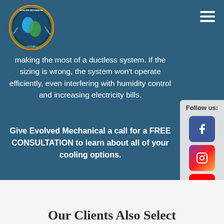[Figure (logo): Evolved Mechanical circular logo with heating, cooling, plumbing text]
making the most of a ductless system. If the sizing is wrong, the system won't operate efficiently, even interfering with humidity control and increasing electricity bills.
Give Evolved Mechanical a call for a FREE CONSULTATION to learn about all of your cooling options.
[Figure (infographic): Follow us sidebar with Facebook, Instagram, and YouTube social media buttons]
Our Clients Also Select